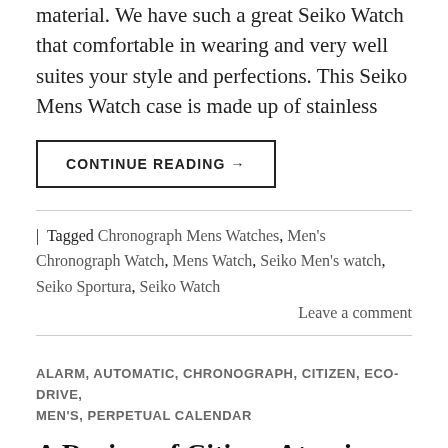material. We have such a great Seiko Watch that comfortable in wearing and very well suites your style and perfections. This Seiko Mens Watch case is made up of stainless
CONTINUE READING →
| Tagged Chronograph Mens Watches, Men's Chronograph Watch, Mens Watch, Seiko Men's watch, Seiko Sportura, Seiko Watch    Leave a comment
ALARM, AUTOMATIC, CHRONOGRAPH, CITIZEN, ECO-DRIVE, MEN'S, PERPETUAL CALENDAR
A Review of Citizen Atomic Perpetual Chronograph Sports AT4008-01E Mens